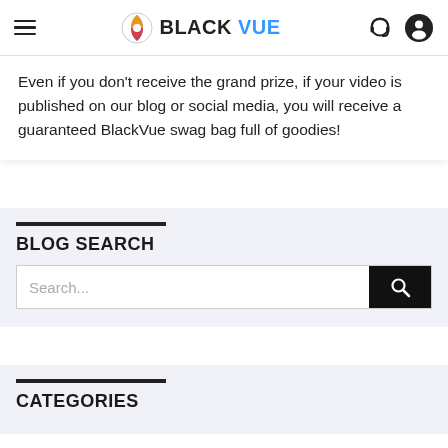BlackVue navigation bar with hamburger menu, logo, headset icon, and user icon
Even if you don't receive the grand prize, if your video is published on our blog or social media, you will receive a guaranteed BlackVue swag bag full of goodies!
BLOG SEARCH
Search...
CATEGORIES